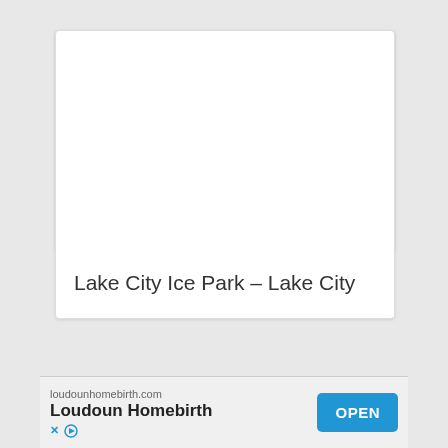[Figure (photo): A large frozen waterfall / ice climbing wall (Lake City Ice Park) with several climbers visible on the icy face, snow-covered rocky cliffs on either side, overcast sky, and a person standing at the base.]
Lake City Ice Park – Lake City
loudounhomebirth.com
Loudoun Homebirth